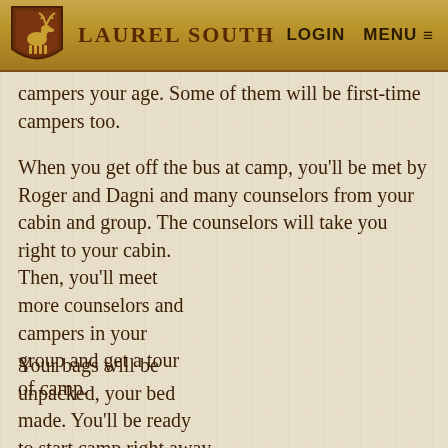LAUREL SOUTH  LOGIN  MENU
campers your age. Some of them will be first-time campers too.
When you get off the bus at camp, you'll be met by Roger and Dagni and many counselors from your cabin and group. The counselors will take you right to your cabin. Then, you'll meet more counselors and campers in your group and get a tour of camp.
Your bags will be unpacked, your bed made. You'll be ready to start camp right away.